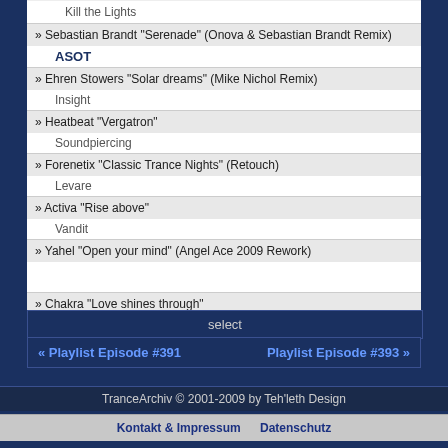Kill the Lights
» Sebastian Brandt "Serenade" (Onova & Sebastian Brandt Remix)
ASOT
» Ehren Stowers "Solar dreams" (Mike Nichol Remix)
Insight
» Heatbeat "Vergatron"
Soundpiercing
» Forenetix "Classic Trance Nights" (Retouch)
Levare
» Activa "Rise above"
Vandit
» Yahel "Open your mind" (Angel Ace 2009 Rework)
» Chakra "Love shines through"
Armada
select
« Playlist Episode #391    Playlist Episode #393 »
TranceArchiv © 2001-2009 by Teh'leth Design
Kontakt & Impressum   Datenschutz